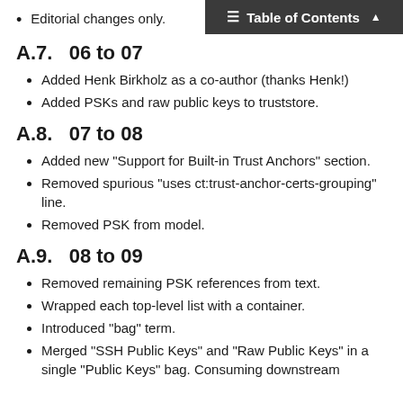Editorial changes only.
Table of Contents
A.7.  06 to 07
Added Henk Birkholz as a co-author (thanks Henk!)
Added PSKs and raw public keys to truststore.
A.8.  07 to 08
Added new "Support for Built-in Trust Anchors" section.
Removed spurious "uses ct:trust-anchor-certs-grouping" line.
Removed PSK from model.
A.9.  08 to 09
Removed remaining PSK references from text.
Wrapped each top-level list with a container.
Introduced "bag" term.
Merged "SSH Public Keys" and "Raw Public Keys" in a single "Public Keys" bag. Consuming downstream